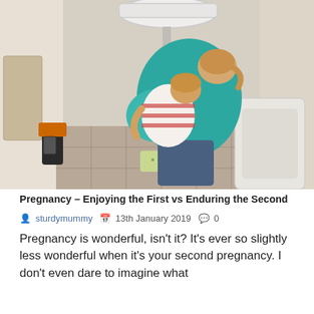[Figure (photo): Overhead photo of a pregnant woman leaning over a toilet, with a small child in a striped shirt hugging her from behind. Bathroom setting with tile floor, sink visible above, and various items on the floor.]
Pregnancy – Enjoying the First vs Enduring the Second
sturdymummy   13th January 2019   0
Pregnancy is wonderful, isn't it?  It's ever so slightly less wonderful when it's your second pregnancy.  I don't even dare to imagine what